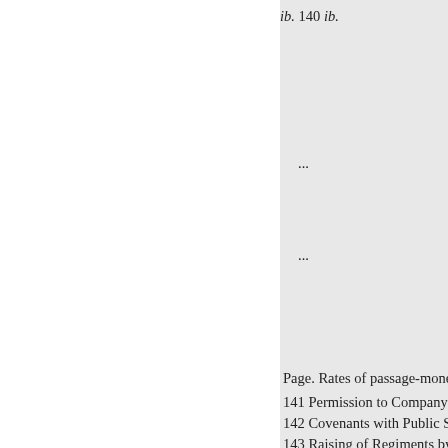ib. 140 ib.
...
...
Page. Rates of passage-money
141 Permission to Company's
142 Covenants with Public Se
143 Raising of Regiments by t
146 Robberies by Europeans
ib. Salaries of writers
147 Customs duties
ib. Charge to Grand Jury by Si